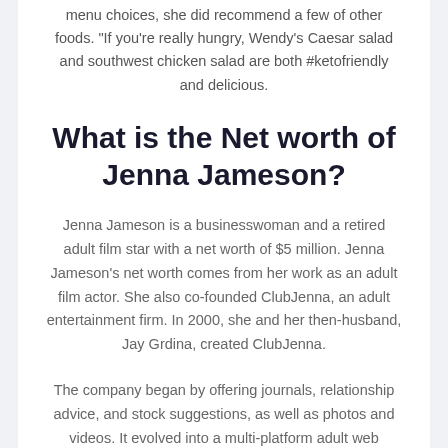menu choices, she did recommend a few of other foods. “If you’re really hungry, Wendy’s Caesar salad and southwest chicken salad are both #ketofriendly and delicious.
What is the Net worth of Jenna Jameson?
Jenna Jameson is a businesswoman and a retired adult film star with a net worth of $5 million. Jenna Jameson's net worth comes from her work as an adult film actor. She also co-founded ClubJenna, an adult entertainment firm. In 2000, she and her then-husband, Jay Grdina, created ClubJenna.
The company began by offering journals, relationship advice, and stock suggestions, as well as photos and videos. It evolved into a multi-platform adult web...